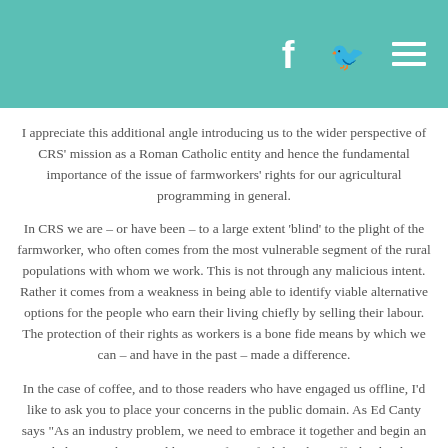I appreciate this additional angle introducing us to the wider perspective of CRS’ mission as a Roman Catholic entity and hence the fundamental importance of the issue of farmworkers’ rights for our agricultural programming in general.
In CRS we are – or have been – to a large extent ‘blind’ to the plight of the farmworker, who often comes from the most vulnerable segment of the rural populations with whom we work. This is not through any malicious intent. Rather it comes from a weakness in being able to identify viable alternative options for the people who earn their living chiefly by selling their labour. The protection of their rights as workers is a bone fide means by which we can – and have in the past – made a difference.
In the case of coffee, and to those readers who have engaged us offline, I’d like to ask you to place your concerns in the public domain. As Ed Canty says “As an industry problem, we need to embrace it together and begin an open dialogue on how to address it.” If you feel that the Coffeelands Blog is the wrong place for this dialogue, or that we are indeed overlooking important aspects of the situation as it pertains